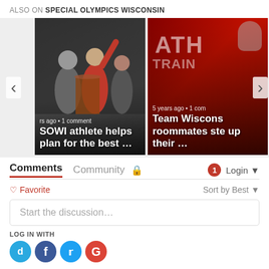ALSO ON SPECIAL OLYMPICS WISCONSIN
[Figure (photo): Carousel with two article cards. Left card: people at a podium with text 'rs ago • 1 comment' and title 'SOWI athlete helps plan for the best …'. Right card: person in red athletic jersey with text '5 years ago • 1 com' and title 'Team Wisconsin roommates ste up their …'. Navigation arrows on left and right.]
Comments
Community 🔒   1 Login ▾
♡ Favorite    Sort by Best ▾
Start the discussion…
LOG IN WITH
[Figure (illustration): Four social login icons: Disqus (cyan), Facebook (blue), Twitter (light blue), Google (red)]